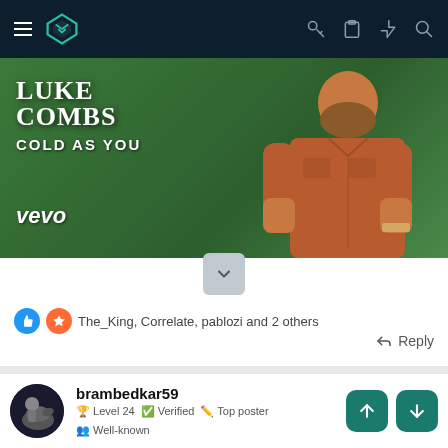[Figure (screenshot): Mobile app navigation bar with hamburger menu, teal logo, and icons (key, clipboard, lightning, search) on dark navy background]
[Figure (screenshot): Luke Combs 'Cold As You' Vevo music video thumbnail showing artist in orange shirt against green background with text overlay]
The_King, Correlate, pablozi and 2 others
Reply
brambedkar59
Level 24  Verified  Top poster  Well-known